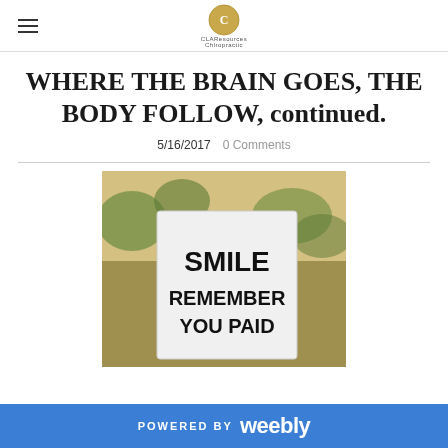CLAResources logo and hamburger menu
WHERE THE BRAIN GOES, THE BODY FOLLOW, continued.
5/16/2017   0 Comments
[Figure (photo): A white sign outdoors with text reading SMILE REMEMBER YOU PAID, set against a background of grass and trees]
POWERED BY weebly